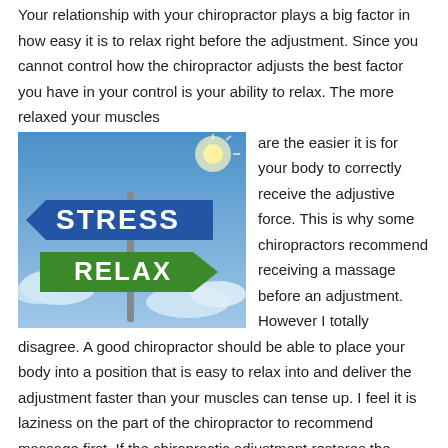Your relationship with your chiropractor plays a big factor in how easy it is to relax right before the adjustment. Since you cannot control how the chiropractor adjusts the best factor you have in your control is your ability to relax. The more relaxed your muscles are the easier it is for your body to correctly receive the adjustive force. This is why some chiropractors recommend receiving a massage before an adjustment. However I totally disagree. A good chiropractor should be able to place your body into a position that is easy to relax into and deliver the adjustment faster than your muscles can tense up. I feel it is laziness on the part of the chiropractor to recommend massage first. If the chiropractic adjustment restores the proper communication between our brain and body then it would make more sense to have your brain fully in charge of the muscles before trying to get them to relax with massage. Otherwise you will be fighting against the massage
[Figure (illustration): Road signs illustration: blue sign pointing left reading STRESS, green arrow sign pointing right reading RELAX, against a cloudy sky background with sunlight flare.]